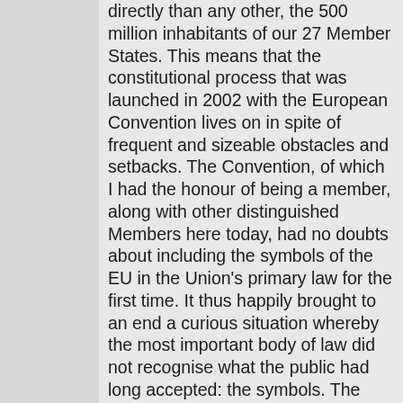directly than any other, the 500 million inhabitants of our 27 Member States. This means that the constitutional process that was launched in 2002 with the European Convention lives on in spite of frequent and sizeable obstacles and setbacks. The Convention, of which I had the honour of being a member, along with other distinguished Members here today, had no doubts about including the symbols of the EU in the Union's primary law for the first time. It thus happily brought to an end a curious situation whereby the most important body of law did not recognise what the public had long accepted: the symbols. The decision in this respect was unanimous and no one challenged it during the ratification process; on the contrary, it was one of the provisions most welcomed by Europeans, as to I have to...